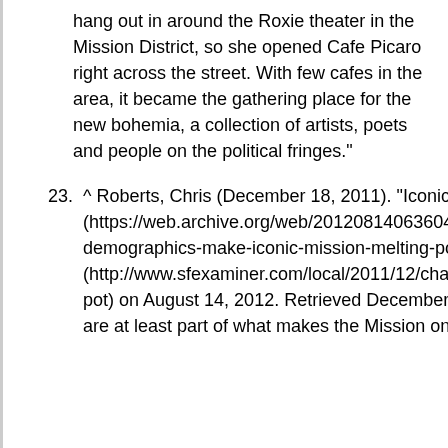hang out in around the Roxie theater in the Mission District, so she opened Cafe Picaro right across the street. With few cafes in the area, it became the gathering place for the new bohemia, a collection of artists, poets and people on the political fringes."
23. ^ Roberts, Chris (December 18, 2011). "Iconic Mission district transforming into a true melting pot" (https://web.archive.org/web/20120814063604/http://www.sfexaminer.com/local/2011/12/changing-demographics-make-iconic-mission-melting-pot). SF Examiner. Archived from the original (http://www.sfexaminer.com/local/2011/12/changing-demographics-make-iconic-mission-melting-pot) on August 14, 2012. Retrieved December 19, 2011. "These commingling cultural contrasts are at least part of what makes the Mission one of The City's most popular and fascinating places."